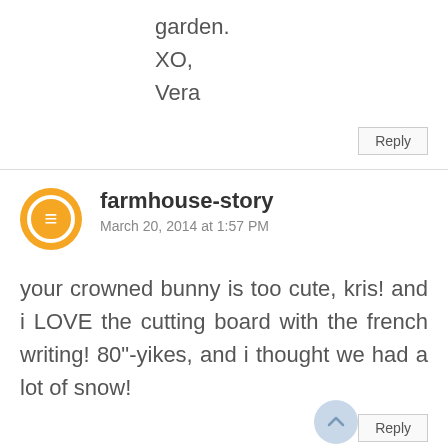garden.
XO,
Vera
Reply
farmhouse-story
March 20, 2014 at 1:57 PM
your crowned bunny is too cute, kris! and i LOVE the cutting board with the french writing! 80"-yikes, and i thought we had a lot of snow!
Reply